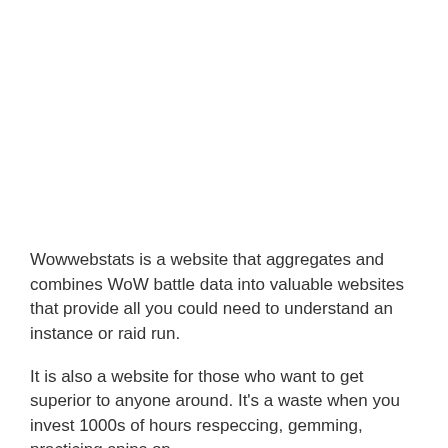Wowwebstats is a website that aggregates and combines WoW battle data into valuable websites that provide all you could need to understand an instance or raid run.
It is also a website for those who want to get superior to anyone around. It's a waste when you invest 1000s of hours respeccing, gemming, practicing spins on